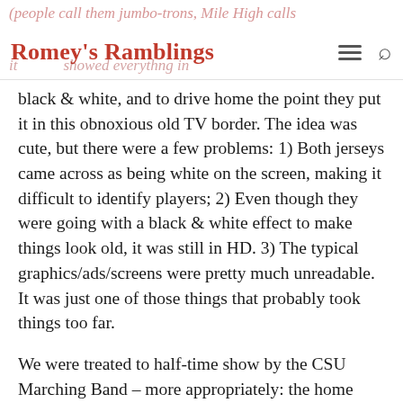Romey's Ramblings
black & white, and to drive home the point they put it in this obnoxious old TV border. The idea was cute, but there were a few problems: 1) Both jerseys came across as being white on the screen, making it difficult to identify players; 2) Even though they were going with a black & white effect to make things look old, it was still in HD. 3) The typical graphics/ads/screens were pretty much unreadable.  It was just one of those things that probably took things too far.
We were treated to half-time show by the CSU Marching Band – more appropriately: the home stands were treated to the show, as that was the only section that could actually hear the band.  I didn't realize just how bad the